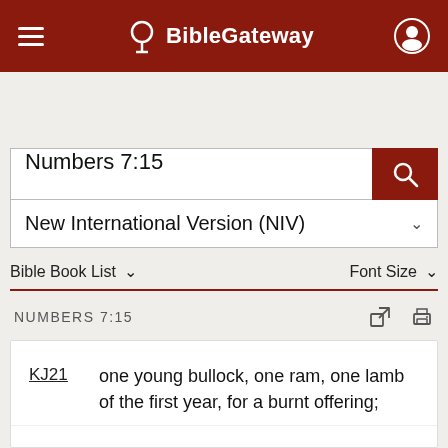BibleGateway
Numbers 7:15
New International Version (NIV)
Bible Book List    Font Size
NUMBERS 7:15
KJ21  one young bullock, one ram, one lamb of the first year, for a burnt offering;